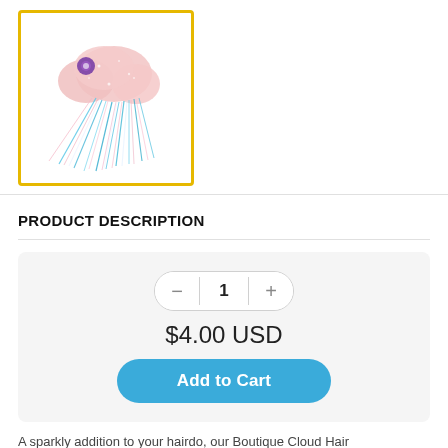[Figure (photo): A sparkly pink cloud-shaped hair clip with a purple flower accent, with colorful blue, pink and white tinsel/fringe streamers below it, displayed against a white background with a yellow border.]
PRODUCT DESCRIPTION
$4.00 USD
Add to Cart
A sparkly addition to your hairdo, our Boutique Cloud Hair